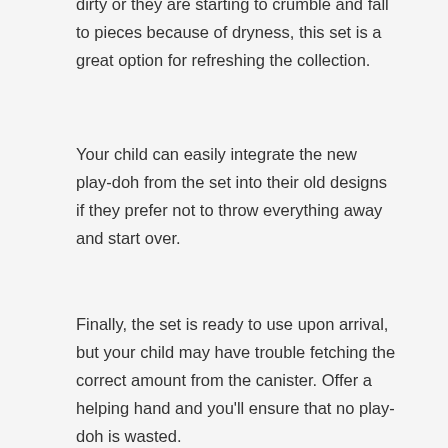dirty or they are starting to crumble and fall to pieces because of dryness, this set is a great option for refreshing the collection.
Your child can easily integrate the new play-doh from the set into their old designs if they prefer not to throw everything away and start over.
Finally, the set is ready to use upon arrival, but your child may have trouble fetching the correct amount from the canister. Offer a helping hand and you'll ensure that no play-doh is wasted.